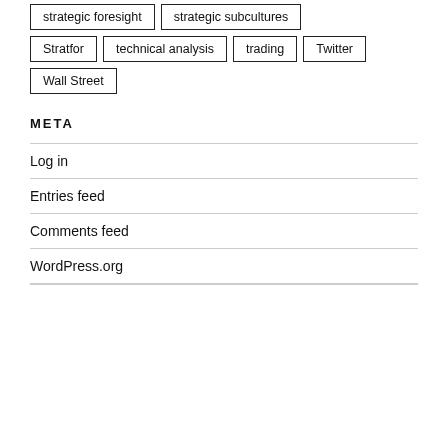strategic foresight
strategic subcultures
Stratfor
technical analysis
trading
Twitter
Wall Street
META
Log in
Entries feed
Comments feed
WordPress.org